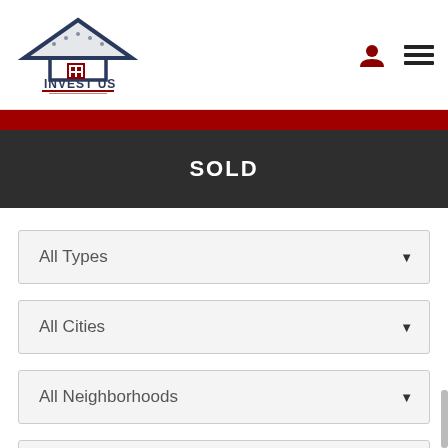INVEST US logo with user icon and hamburger menu
SOLD
All Types
All Cities
All Neighborhoods
Any Bedrooms